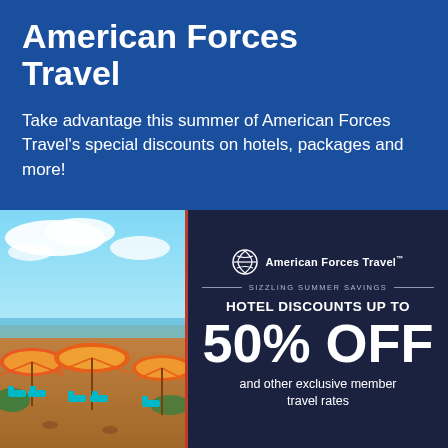American Forces Travel
Take advantage this summer of American Forces Travel's special discounts on hotels, packages and more!
[Figure (photo): Beach scene with orange/yellow umbrellas and teal beach chairs under a blue sky with clouds]
[Figure (infographic): American Forces Travel promotional panel on dark navy background showing logo, 'SIZZLING SUMMER SAVINGS', 'HOTEL DISCOUNTS UP TO 50% OFF', 'and other exclusive member travel rates']